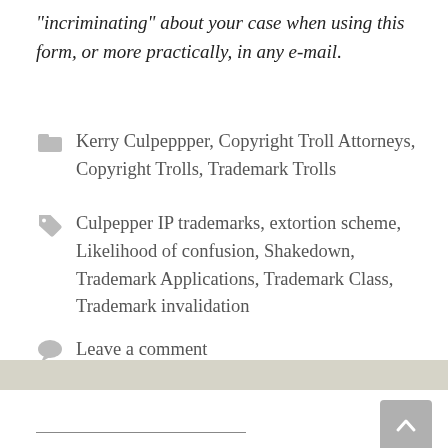“incriminating” about your case when using this form, or more practically, in any e-mail.
Kerry Culpeppper, Copyright Troll Attorneys, Copyright Trolls, Trademark Trolls
Culpepper IP trademarks, extortion scheme, Likelihood of confusion, Shakedown, Trademark Applications, Trademark Class, Trademark invalidation
Leave a comment
HOW TO CONTACT US: